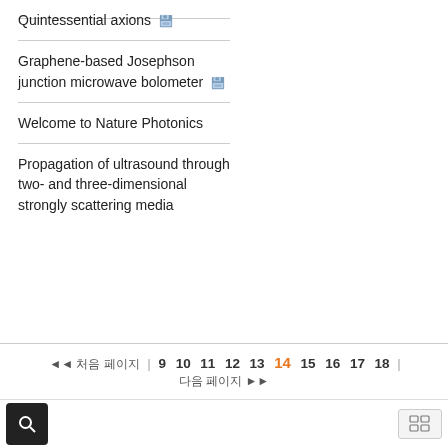Quintessential axions
Graphene-based Josephson junction microwave bolometer
Welcome to Nature Photonics
Propagation of ultrasound through two- and three-dimensional strongly scattering media
◄◄ 처음 페이지   9   10   11   12   13   14   15   16   17   18   다음 페이지 ►►